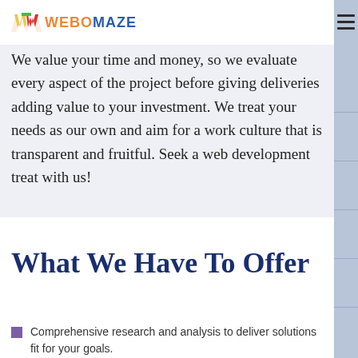WEBOMAZE
We value your time and money, so we evaluate every aspect of the project before giving deliveries adding value to your investment. We treat your needs as our own and aim for a work culture that is transparent and fruitful. Seek a web development treat with us!
What We Have To Offer
Comprehensive research and analysis to deliver solutions fit for your goals.